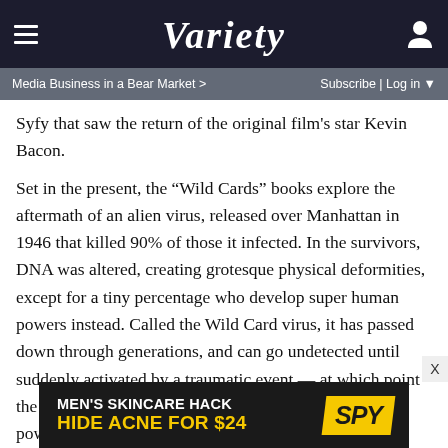VARIETY
Media Business in a Bear Market > | Subscribe | Log in
Syfy that saw the return of the original film's star Kevin Bacon.
Set in the present, the “Wild Cards” books explore the aftermath of an alien virus, released over Manhattan in 1946 that killed 90% of those it infected. In the survivors, DNA was altered, creating grotesque physical deformities, except for a tiny percentage who develop super human powers instead. Called the Wild Card virus, it has passed down through generations, and can go undetected until suddenly activated by a traumatic event — at which point the carrier is either killed, mutated or granted god-like powers. Effects that are largely a manifestation of the victim’s emotional state, making them vulnerable to reverence or ridicule on a deep
[Figure (advertisement): MEN'S SKINCARE HACK HIDE ACNE FOR $24 SPY advertisement banner]